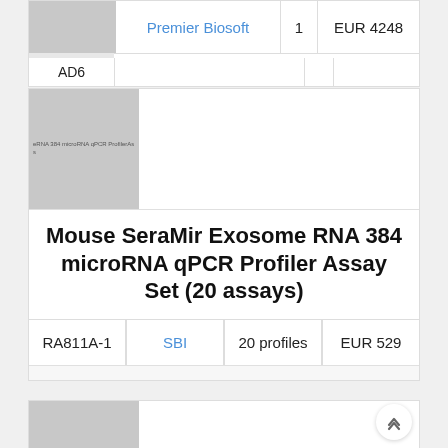|  | Supplier | Qty | Price |
| --- | --- | --- | --- |
| AD6 | Premier Biosoft | 1 | EUR 4248 |
[Figure (photo): Product image placeholder for Mouse SeraMir Exosome RNA 384 microRNA qPCR Profiler Assay Set]
Mouse SeraMir Exosome RNA 384 microRNA qPCR Profiler Assay Set (20 assays)
| Catalog | Supplier | Quantity | Price |
| --- | --- | --- | --- |
| RA811A-1 | SBI | 20 profiles | EUR 529 |
[Figure (photo): Partial product image placeholder at bottom of page]